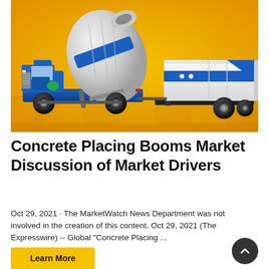[Figure (photo): A blue and white concrete mixer truck with a large rotating drum on the left, and a white and blue concrete pump trailer on the right, both set against a bright yellow/orange background.]
Concrete Placing Booms Market Discussion of Market Drivers
Oct 29, 2021 · The MarketWatch News Department was not involved in the creation of this content. Oct 29, 2021 (The Expresswire) -- Global "Concrete Placing ...
Learn More